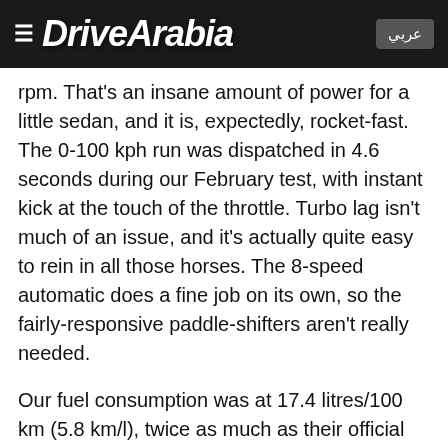DriveArabia
rpm. That's an insane amount of power for a little sedan, and it is, expectedly, rocket-fast. The 0-100 kph run was dispatched in 4.6 seconds during our February test, with instant kick at the touch of the throttle. Turbo lag isn't much of an issue, and it's actually quite easy to rein in all those horses. The 8-speed automatic does a fine job on its own, so the fairly-responsive paddle-shifters aren't really needed.
Our fuel consumption was at 17.4 litres/100 km (5.8 km/l), twice as much as their official rating, with a mix of some aggressive driving, some traffic and some highway cruising.
The Giulia Quadrifoglio has an adaptive exhaust that sounds like a generic V6 sedan in every setting